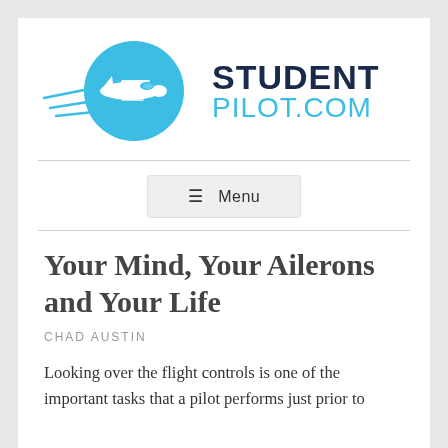[Figure (logo): StudentPilot.com logo with a blue circle containing a small airplane with speed lines, next to bold dark text 'STUDENT' and lighter blue text 'PILOT.COM']
☰ Menu
Your Mind, Your Ailerons and Your Life
CHAD AUSTIN
Looking over the flight controls is one of the important tasks that a pilot performs just prior to